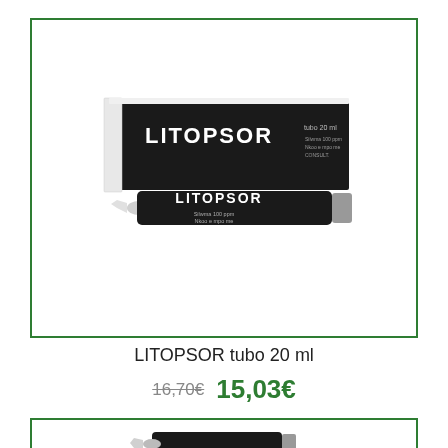[Figure (photo): LITOPSOR product photo showing a dark tube and its box packaging, both labeled LITOPSOR tubo 20 ml]
LITOPSOR tubo 20 ml
16,70€  15,03€